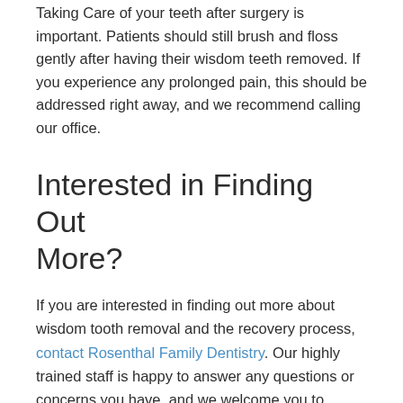Taking Care of your teeth after surgery is important. Patients should still brush and floss gently after having their wisdom teeth removed. If you experience any prolonged pain, this should be addressed right away, and we recommend calling our office.
Interested in Finding Out More?
If you are interested in finding out more about wisdom tooth removal and the recovery process, contact Rosenthal Family Dentistry. Our highly trained staff is happy to answer any questions or concerns you have, and we welcome you to schedule an appointment. If you think you may need wisdom tooth removal the first step is scheduling a consultation with us. Our doctors will